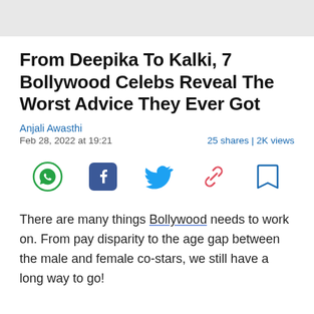From Deepika To Kalki, 7 Bollywood Celebs Reveal The Worst Advice They Ever Got
Anjali Awasthi
Feb 28, 2022 at 19:21    25 shares | 2K views
[Figure (infographic): Social share icons: WhatsApp (green), Facebook (dark blue), Twitter (blue), Link/copy (pink/red), Bookmark (blue outline)]
There are many things Bollywood needs to work on. From pay disparity to the age gap between the male and female co-stars, we still have a long way to go!